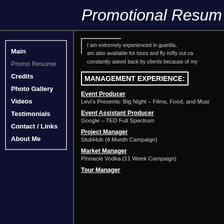Promotional Resum
Main
Promo Resume
Credits
Photo Gallery
Videos
Testimonials
Contact / Links
About Me
I am extremely experienced in guerilla, am also available for tours and fly in/fly out ca constantly asked back by clients because of my
MANAGEMENT EXPERIENCE:
Event Producer
Levi’s Presents: Big Night – Films, Food, and Musi
Event Assistant Producer
Google – TED Full Spectrum
Project Manager
StubHub (4 Month Campaign)
Market Manager
Pinnacle Vodka (11 Week Campaign)
Tour Manager